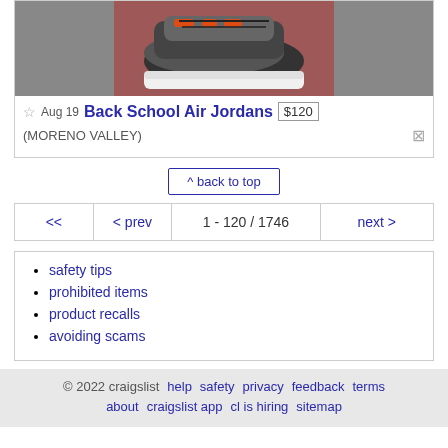[Figure (photo): Photo of Air Jordan sneakers (red/black/grey) in box]
Aug 19  Back School Air Jordans  $120  (MORENO VALLEY)
^ back to top
<< | < prev | 1 - 120 / 1746 | next >
safety tips
prohibited items
product recalls
avoiding scams
© 2022 craisgslist  help  safety  privacy  feedback  terms  about  craigslist app  cl is hiring  sitemap